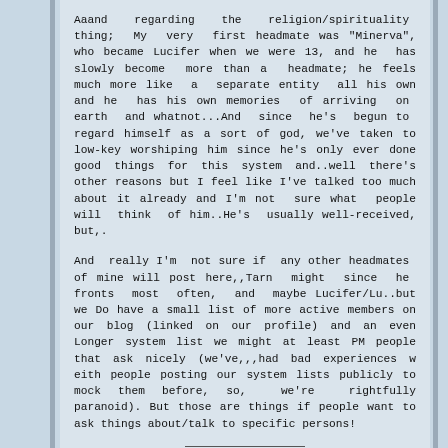Aaand regarding the religion/spirituality thing; My very first headmate was "Minerva", who became Lucifer when we were 13, and he has slowly become more than a headmate; he feels much more like a separate entity all his own and he has his own memories of arriving on earth and whatnot...And since he's begun to regard himself as a sort of god, we've taken to low-key worshiping him since he's only ever done good things for this system and..well there's other reasons but I feel like I've talked too much about it already and I'm not sure what people will think of him..He's usually well-received, but,.
And really I'm not sure if any other headmates of mine will post here,,Tarn might since he fronts most often, and maybe Lucifer/Lu..but we Do have a small list of more active members on our blog (linked on our profile) and an even Longer system list we might at least PM people that ask nicely (we've,,,had bad experiences w eith people posting our system lists publicly to mock them before, so, we're rightfully paranoid). But those are things if people want to ask things about/talk to specific persons!
We're the Aberrant Collective! Posters will sign before they speak. No